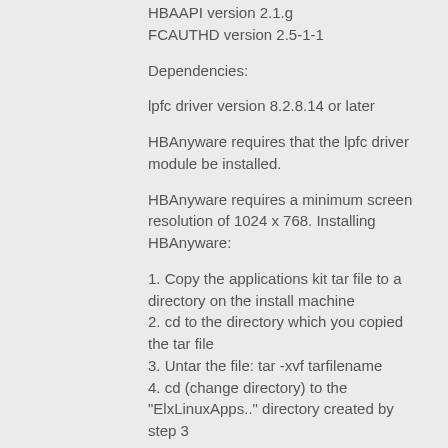HBAAPI version 2.1.g
FCAUTHD version 2.5-1-1
Dependencies:
lpfc driver version 8.2.8.14 or later
HBAnyware requires that the lpfc driver module be installed.
HBAnyware requires a minimum screen resolution of 1024 x 768. Installing HBAnyware:
1. Copy the applications kit tar file to a directory on the install machine
2. cd to the directory which you copied the tar file
3. Untar the file: tar -xvf tarfilename
4. cd (change directory) to the "ElxLinuxApps.." directory created by step 3
5. su to root
6. If earlier HBAnyware version currently installed, type : ./uninstall
7. Run the install script: ./install
8. When prompted, answer the following question: